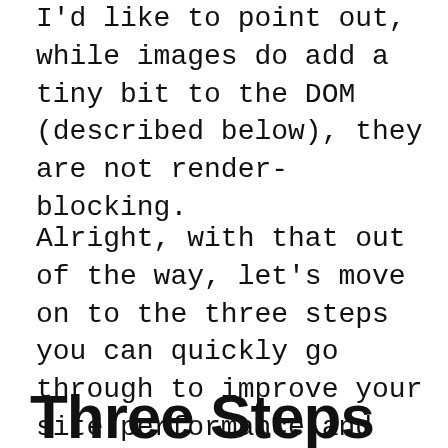I'd like to point out, while images do add a tiny bit to the DOM (described below), they are not render-blocking.
Alright, with that out of the way, let's move on to the three steps you can quickly go through to improve your site performance and cure your render-blocking ailments.
Three Steps